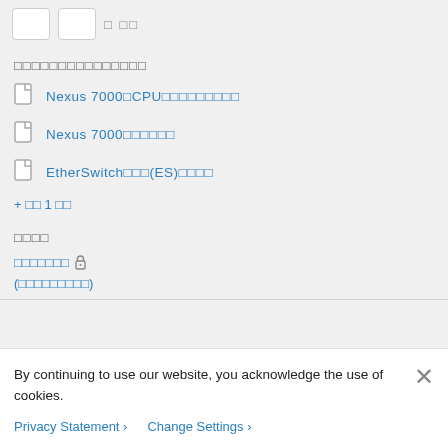[Figure (screenshot): Top navigation bar with two button boxes and text in CJK characters]
□□□□□□□□□□□□□□□
Nexus 7000□CPU□□□□□□□□□
Nexus 7000□□□□□□
EtherSwitch□□□(ES)□□□□
+ □□ 1 □□
□□□□
□□□□□□□ 🔒
(□□□□□□□□□)
By continuing to use our website, you acknowledge the use of cookies.
Privacy Statement › Change Settings ›